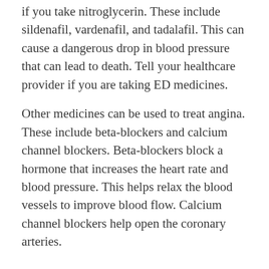if you take nitroglycerin. These include sildenafil, vardenafil, and tadalafil. This can cause a dangerous drop in blood pressure that can lead to death. Tell your healthcare provider if you are taking ED medicines.
Other medicines can be used to treat angina. These include beta-blockers and calcium channel blockers. Beta-blockers block a hormone that increases the heart rate and blood pressure. This helps relax the blood vessels to improve blood flow. Calcium channel blockers help open the coronary arteries.
What are possible complications of angina pectoris?